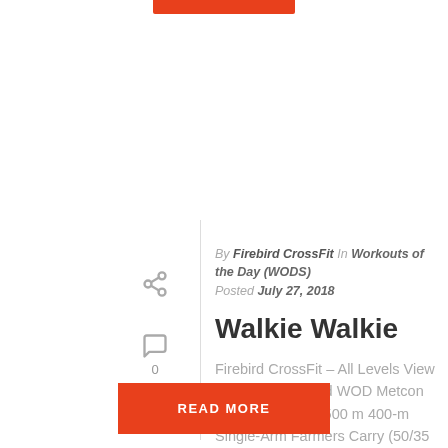By Firebird CrossFit In Workouts of the Day (WODS)
Posted July 27, 2018
Walkie Walkie
Firebird CrossFit – All Levels View Public Whiteboard WOD Metcon (Time) Rx+ Row 500 m 400-m Single-Arm Farmers Carry (50/35 lb.) Rest 2 min. Row 500 m 300-m Single-Arm Farmers Carry Rest 2 [...]
READ MORE